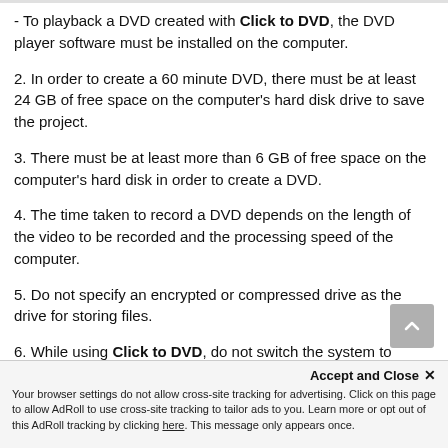- To playback a DVD created with Click to DVD, the DVD player software must be installed on the computer.
2. In order to create a 60 minute DVD, there must be at least 24 GB of free space on the computer's hard disk drive to save the project.
3. There must be at least more than 6 GB of free space on the computer's hard disk in order to create a DVD.
4. The time taken to record a DVD depends on the length of the video to be recorded and the processing speed of the computer.
5. Do not specify an encrypted or compressed drive as the drive for storing files.
6. While using Click to DVD, do not switch the system to standby mode.
Accept and Close ×
Your browser settings do not allow cross-site tracking for advertising. Click on this page to allow AdRoll to use cross-site tracking to tailor ads to you. Learn more or opt out of this AdRoll tracking by clicking here. This message only appears once.